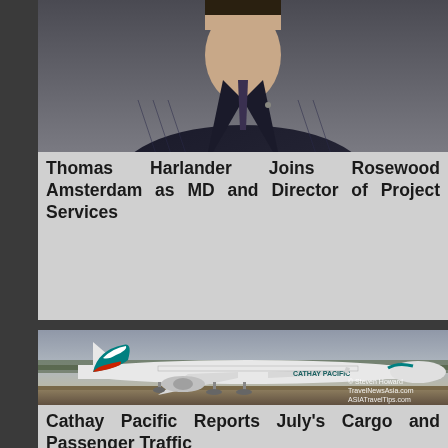[Figure (photo): Portrait photo of Thomas Harlander in a dark pinstripe suit against a grey background]
Thomas Harlander Joins Rosewood Amsterdam as MD and Director of Project Services
[Figure (photo): Cathay Pacific Airbus A330 aircraft on runway, photo credit to Steven Howard / TravelNewsAsia.com / ASIATravelTips.com]
Cathay Pacific Reports July's Cargo and Passenger Traffic